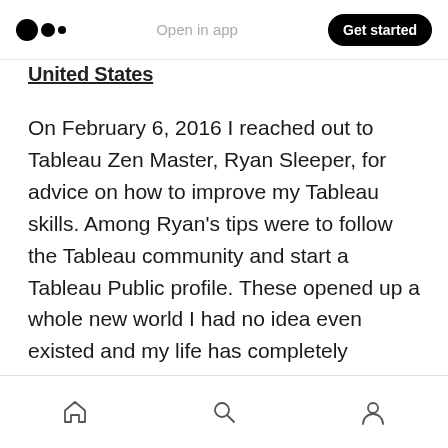Open in app | Get started
United States
On February 6, 2016 I reached out to Tableau Zen Master, Ryan Sleeper, for advice on how to improve my Tableau skills. Among Ryan's tips were to follow the Tableau community and start a Tableau Public profile. These opened up a whole new world I had no idea even existed and my life has completely changed because of it. Today, I work as a Data and Analytics Consultant and for the first time in my career, I can say that I love going to work every day!
Home | Search | Profile